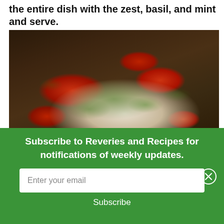the entire dish with the zest, basil, and mint and serve.
[Figure (photo): Overhead view of a baked fish fillet with roasted cherry tomatoes and fresh green herbs (basil, mint) in a dark roasting pan.]
Subscribe to Reveries and Recipes for notifications of weekly updates.
Enter your email
Subscribe